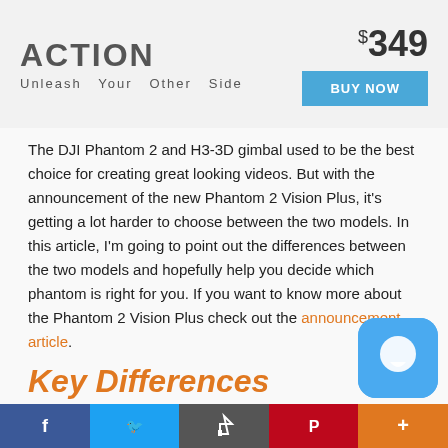[Figure (other): Advertisement banner for DJI OSMO ACTION product showing text 'ACTION', tagline 'Unleash Your Other Side', price '$349', and a blue 'BUY NOW' button]
The DJI Phantom 2 and H3-3D gimbal used to be the best choice for creating great looking videos. But with the announcement of the new Phantom 2 Vision Plus, it's getting a lot harder to choose between the two models. In this article, I'm going to point out the differences between the two models and hopefully help you decide which phantom is right for you. If you want to know more about the Phantom 2 Vision Plus check out the announcement article.
Key Differences
The first thing you'll notice about the Phantom 2 Vision Plus is that it comes with everything you need to get started right away. The only thing you need is an iPh…
[Figure (other): Social sharing toolbar at bottom with Facebook, Twitter, Share, Pinterest, and More buttons. Also a blue chat bubble icon in lower right corner.]